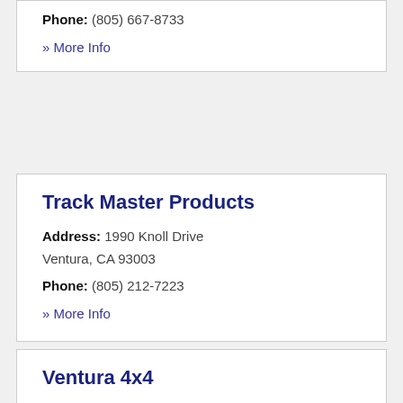Phone: (805) 667-8733
» More Info
Track Master Products
Address: 1990 Knoll Drive
Ventura, CA 93003
Phone: (805) 212-7223
» More Info
Ventura 4x4
Address: 176 S Olive Street
Ventura, CA 93001
Phone: (805) 641-4000
» More Info